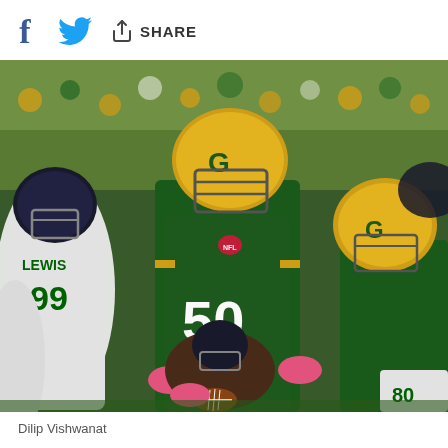[Figure (other): Social media share bar with Facebook icon, Twitter bird icon, and share icon with SHARE label]
[Figure (photo): NFL football game photo showing Green Bay Packers player #50 in green and yellow uniform engaged in a pile-up play with Jacksonville Jaguars players in white uniforms. Players wearing pink gloves for Breast Cancer Awareness. Crowded stadium in background.]
Dilip Vishwanat